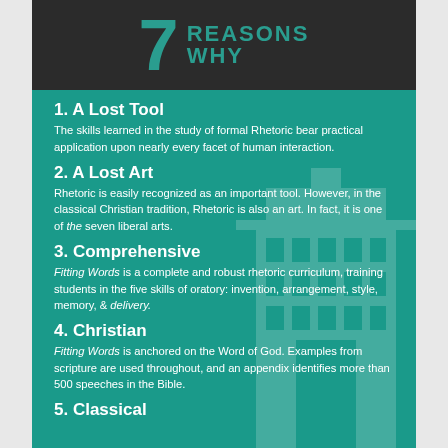7 REASONS WHY
1. A Lost Tool
The skills learned in the study of formal Rhetoric bear practical application upon nearly every facet of human interaction.
2. A Lost Art
Rhetoric is easily recognized as an important tool. However, in the classical Christian tradition, Rhetoric is also an art. In fact, it is one of the seven liberal arts.
3. Comprehensive
Fitting Words is a complete and robust rhetoric curriculum, training students in the five skills of oratory: invention, arrangement, style, memory, & delivery.
4. Christian
Fitting Words is anchored on the Word of God. Examples from scripture are used throughout, and an appendix identifies more than 500 speeches in the Bible.
5. Classical